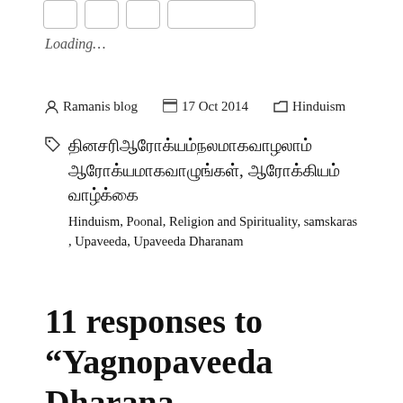Loading…
Ramanis blog   17 Oct 2014   Hinduism
தினசரிஆரோக்யம்நலமாகவாழலாம் ஆரோக்யமாகவாழுங்கள், ஆரோக்கியம் வாழ்க்கை Hinduism, Poonal, Religion and Spirituality, samskaras, Upaveeda, Upaveeda Dharanam
11 responses to "Yagnopaveeda Dharana Mantra Poonal"